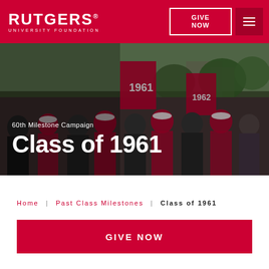RUTGERS® UNIVERSITY FOUNDATION
[Figure (photo): Crowd of Rutgers alumni in red jackets marching with red '1961' banner flags at a milestone reunion parade on a tree-lined campus path.]
60th Milestone Campaign
Class of 1961
Home | Past Class Milestones | Class of 1961
GIVE NOW